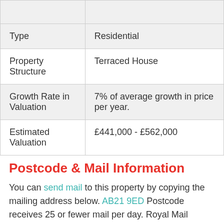|  |  |
| Type | Residential |
| Property Structure | Terraced House |
| Growth Rate in Valuation | 7% of average growth in price per year. |
| Estimated Valuation | £441,000 - £562,000 |
Postcode & Mail Information
You can send mail to this property by copying the mailing address below. AB21 9ED Postcode receives 25 or fewer mail per day. Royal Mail